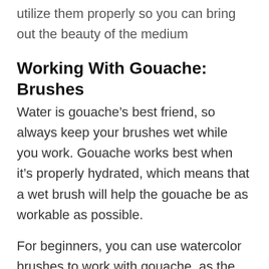utilize them properly so you can bring out the beauty of the medium
Working With Gouache: Brushes
Water is gouache’s best friend, so always keep your brushes wet while you work. Gouache works best when it’s properly hydrated, which means that a wet brush will help the gouache be as workable as possible.
For beginners, you can use watercolor brushes to work with gouache, as the special gouache brushes are made pretty much the same way. Regardless what type or shape of brush you use when working